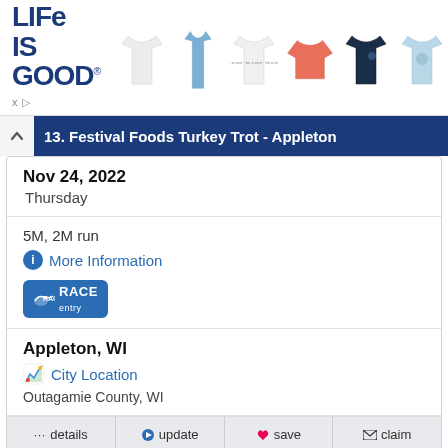[Figure (screenshot): Life Is Good advertisement banner with logo and t-shirt product images]
13. Festival Foods Turkey Trot - Appleton
Nov 24, 2022
Thursday
5M, 2M run
More Information
[Figure (logo): Race Entry logo button]
Appleton, WI
City Location
Outagamie County, WI
... details   update   save   claim
★ feature